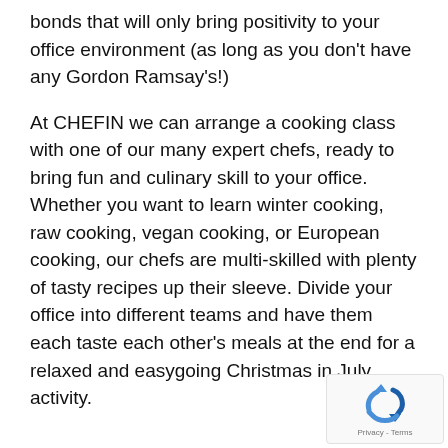bonds that will only bring positivity to your office environment (as long as you don't have any Gordon Ramsay's!)
At CHEFIN we can arrange a cooking class with one of our many expert chefs, ready to bring fun and culinary skill to your office. Whether you want to learn winter cooking, raw cooking, vegan cooking, or European cooking, our chefs are multi-skilled with plenty of tasty recipes up their sleeve. Divide your office into different teams and have them each taste each other's meals at the end for a relaxed and easygoing Christmas in July activity.
[Figure (other): reCAPTCHA badge with recycling-arrows logo and 'Privacy - Terms' text]